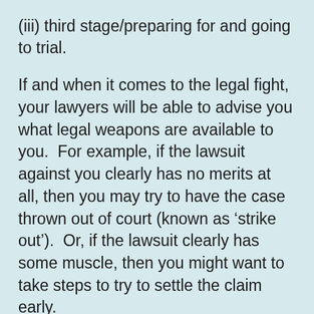(iii) third stage/preparing for and going to trial.
If and when it comes to the legal fight, your lawyers will be able to advise you what legal weapons are available to you.  For example, if the lawsuit against you clearly has no merits at all, then you may try to have the case thrown out of court (known as ‘strike out’).  Or, if the lawsuit clearly has some muscle, then you might want to take steps to try to settle the claim early.
More generally, a lawsuit can go through many twists and turns during the litigation...